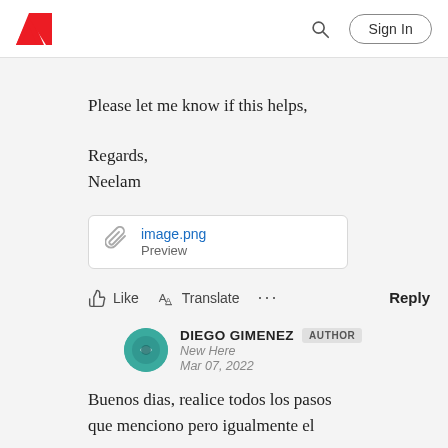Adobe | Sign In
Please let me know if this helps,
Regards,
Neelam
[Figure (other): Attachment link: image.png, Preview]
Like   Translate   ...   Reply
DIEGO GIMENEZ   AUTHOR
New Here
Mar 07, 2022
Buenos dias, realice todos los pasos que menciono pero igualmente el